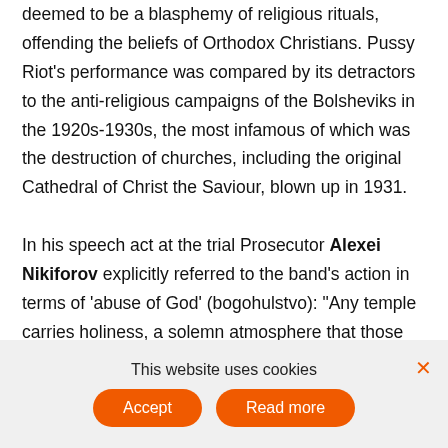deemed to be a blasphemy of religious rituals, offending the beliefs of Orthodox Christians. Pussy Riot's performance was compared by its detractors to the anti-religious campaigns of the Bolsheviks in the 1920s-1930s, the most infamous of which was the destruction of churches, including the original Cathedral of Christ the Saviour, blown up in 1931.

In his speech act at the trial Prosecutor Alexei Nikiforov explicitly referred to the band's action in terms of 'abuse of God' (bogohulstvo): "Any temple carries holiness, a solemn atmosphere that those present in it must maintain. The bacchanalia of this sort throws a
This website uses cookies